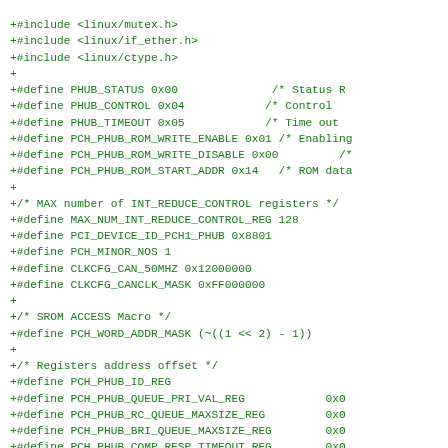+#include <linux/mutex.h>
+#include <linux/if_ether.h>
+#include <linux/ctype.h>
+
+#define PHUB_STATUS 0x00                /* Status R
+#define PHUB_CONTROL 0x04              /* Control
+#define PHUB_TIMEOUT 0x05              /* Time out
+#define PCH_PHUB_ROM_WRITE_ENABLE 0x01 /* Enabling
+#define PCH_PHUB_ROM_WRITE_DISABLE 0x00         /*
+#define PCH_PHUB_ROM_START_ADDR 0x14    /* ROM data
+
+/* MAX number of INT_REDUCE_CONTROL registers */
+#define MAX_NUM_INT_REDUCE_CONTROL_REG 128
+#define PCI_DEVICE_ID_PCH1_PHUB 0x8801
+#define PCH_MINOR_NOS 1
+#define CLKCFG_CAN_50MHZ 0x12000000
+#define CLKCFG_CANCLK_MASK 0xFF000000
+
+/* SROM ACCESS Macro */
+#define PCH_WORD_ADDR_MASK (~((1 << 2) - 1))
+
+/* Registers address offset */
+#define PCH_PHUB_ID_REG
+#define PCH_PHUB_QUEUE_PRI_VAL_REG             0x0
+#define PCH_PHUB_RC_QUEUE_MAXSIZE_REG          0x0
+#define PCH_PHUB_BRI_QUEUE_MAXSIZE_REG         0x0
+#define PCH_PHUB_COMP_RESP_TIMEOUT_REG         0x0
+#define PCH_PHUB_BUS_SLAVE_CONTROL_REG         0x0
+#define PCH_PHUB_DEADLOCK_AVOID_TYPE_REG       0x0
+#define PCH_PHUB_INTPIN_REG_WPERMIT_REG0       0x0